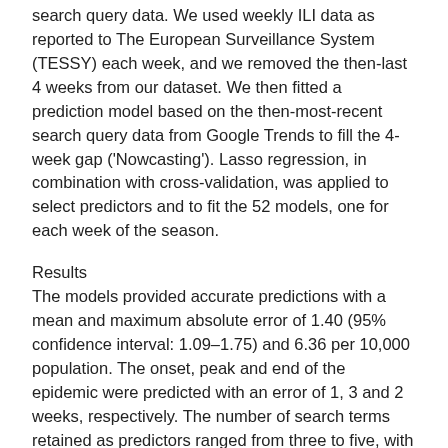search query data. We used weekly ILI data as reported to The European Surveillance System (TESSY) each week, and we removed the then-last 4 weeks from our dataset. We then fitted a prediction model based on the then-most-recent search query data from Google Trends to fill the 4-week gap ('Nowcasting'). Lasso regression, in combination with cross-validation, was applied to select predictors and to fit the 52 models, one for each week of the season.
Results
The models provided accurate predictions with a mean and maximum absolute error of 1.40 (95% confidence interval: 1.09–1.75) and 6.36 per 10,000 population. The onset, peak and end of the epidemic were predicted with an error of 1, 3 and 2 weeks, respectively. The number of search terms retained as predictors ranged from three to five, with one keyword, 'griep' ('flu'), having the most weight in all models.
Discussion